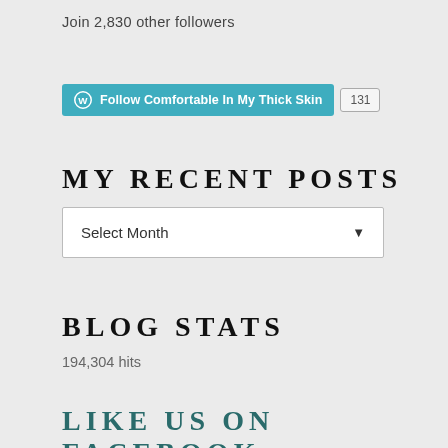Join 2,830 other followers
[Figure (other): WordPress Follow button for 'Comfortable In My Thick Skin' with follow count badge showing 131]
MY RECENT POSTS
[Figure (other): Dropdown select box labeled 'Select Month']
BLOG STATS
194,304 hits
LIKE US ON FACEBOOK